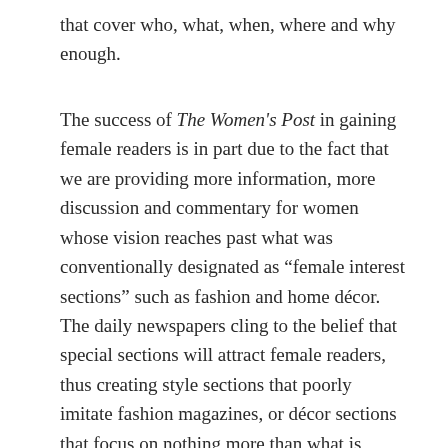that cover who, what, when, where and why enough.
The success of The Women's Post in gaining female readers is in part due to the fact that we are providing more information, more discussion and commentary for women whose vision reaches past what was conventionally designated as “female interest sections” such as fashion and home décor. The daily newspapers cling to the belief that special sections will attract female readers, thus creating style sections that poorly imitate fashion magazines, or décor sections that focus on nothing more than what is trendy. They mistakenly think that women aren't as interested in news about the world around us – without realising that women's interests are as diverse as men's.
I believe that the format, or the way the news is delivered, is more the issue and that by changing the format we will gain more female readers as we deliver news with context. Women